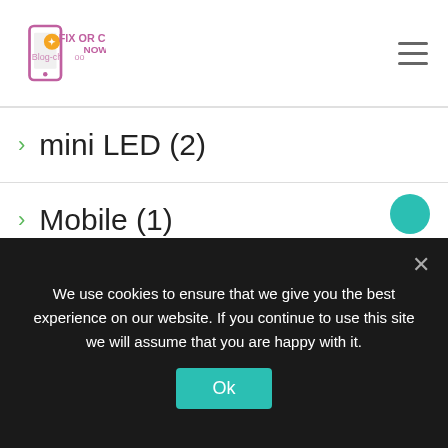Fix Or Cell Now
mini LED (2)
Mobile (1)
mobile payment service (1)
mobile payments (1)
Mobvoi (1)
moto (1)
We use cookies to ensure that we give you the best experience on our website. If you continue to use this site we will assume that you are happy with it.
Ok